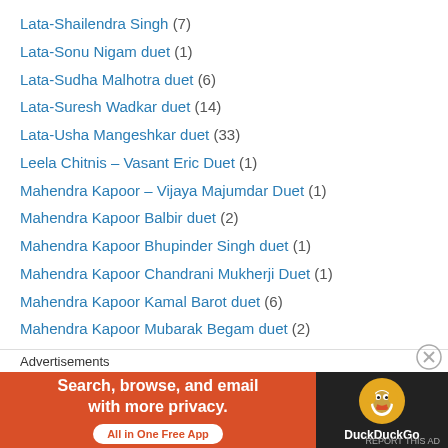Lata-Shailendra Singh (7)
Lata-Sonu Nigam duet (1)
Lata-Sudha Malhotra duet (6)
Lata-Suresh Wadkar duet (14)
Lata-Usha Mangeshkar duet (33)
Leela Chitnis – Vasant Eric Duet (1)
Mahendra Kapoor – Vijaya Majumdar Duet (1)
Mahendra Kapoor Balbir duet (2)
Mahendra Kapoor Bhupinder Singh duet (1)
Mahendra Kapoor Chandrani Mukherji Duet (1)
Mahendra Kapoor Kamal Barot duet (6)
Mahendra Kapoor Mubarak Begam duet (2)
Mahendra Kapoor Sharda duet (2)
Mahendra Kapoor Sudha Malhotra duet (3)
Mahendra Kapoor Suman Kalyanpur (10)
Mahendra Kapoor Usha Mangeshkar duet (5)
[Figure (infographic): DuckDuckGo advertisement banner: orange background with text 'Search, browse, and email with more privacy. All in One Free App' and DuckDuckGo logo on dark background]